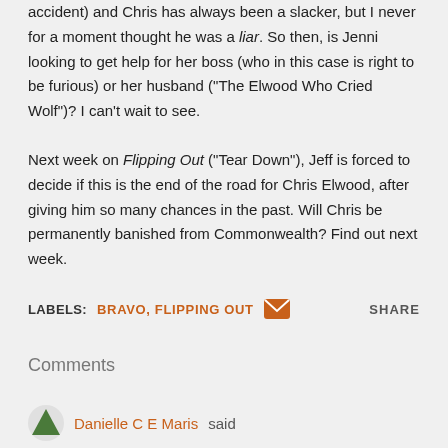accident) and Chris has always been a slacker, but I never for a moment thought he was a liar. So then, is Jenni looking to get help for her boss (who in this case is right to be furious) or her husband ("The Elwood Who Cried Wolf")? I can't wait to see.
Next week on Flipping Out ("Tear Down"), Jeff is forced to decide if this is the end of the road for Chris Elwood, after giving him so many chances in the past. Will Chris be permanently banished from Commonwealth? Find out next week.
LABELS: BRAVO, FLIPPING OUT   [email icon]   SHARE
Comments
Danielle C E Maris said